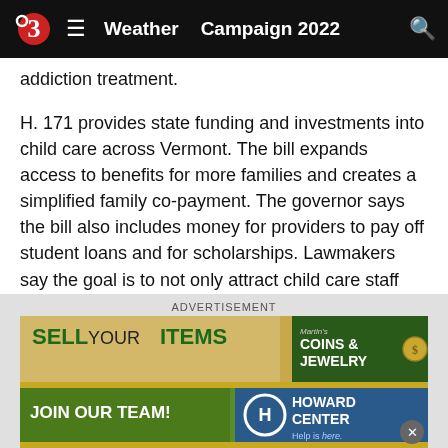Weather  Campaign 2022
addiction treatment.
H. 171 provides state funding and investments into child care across Vermont. The bill expands access to benefits for more families and creates a simplified family co-payment. The governor says the bill also includes money for providers to pay off student loans and for scholarships. Lawmakers say the goal is to not only attract child care staff into the workforce but to help them make a career out of it.
[Figure (advertisement): Advertisement banner - 'SELL YOUR ITEMS' with Martin's Coins & Jewelry logo]
[Figure (advertisement): Advertisement banner - 'JOIN OUR TEAM!' Howard Center, Help is here.]